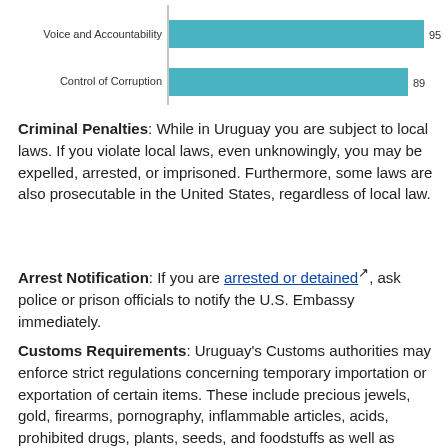[Figure (bar-chart): ]
Criminal Penalties: While in Uruguay you are subject to local laws. If you violate local laws, even unknowingly, you may be expelled, arrested, or imprisoned. Furthermore, some laws are also prosecutable in the United States, regardless of local law.
Arrest Notification: If you are arrested or detained, ask police or prison officials to notify the U.S. Embassy immediately.
Customs Requirements: Uruguay's Customs authorities may enforce strict regulations concerning temporary importation or exportation of certain items. These include precious jewels, gold, firearms, pornography, inflammable articles, acids, prohibited drugs, plants, seeds, and foodstuffs as well as antiquities and business equipment. Uruguayan Customs also prohibits the importation of